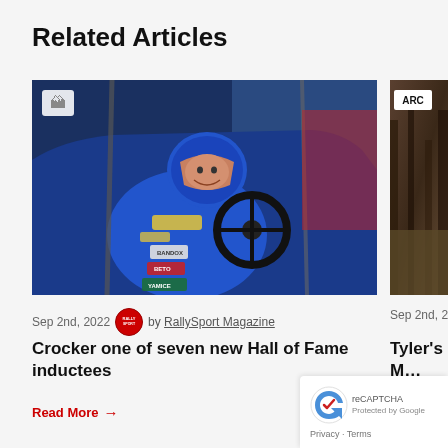Related Articles
[Figure (photo): Rally driver in blue and yellow racing suit seated in rally car cockpit, smiling, wearing blue helmet. Car interior visible with roll cage and steering wheel.]
Sep 2nd, 2022  by RallySport Magazine
Crocker one of seven new Hall of Fame inductees
Read More →
[Figure (photo): Partially visible forest/rally stage photo with ARC badge overlay in upper area.]
Sep 2nd, 20...
Tyler's Ma... second w...
Read More